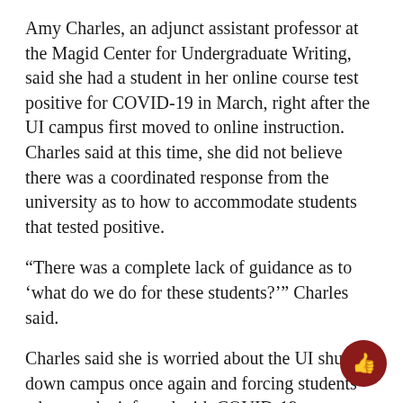Amy Charles, an adjunct assistant professor at the Magid Center for Undergraduate Writing, said she had a student in her online course test positive for COVID-19 in March, right after the UI campus first moved to online instruction. Charles said at this time, she did not believe there was a coordinated response from the university as to how to accommodate students that tested positive.
“There was a complete lack of guidance as to ‘what do we do for these students?’” Charles said.
Charles said she is worried about the UI shutting down campus once again and forcing students who may be infected with COVID-19 to move back home, spreading this virus beyond Iowa City.